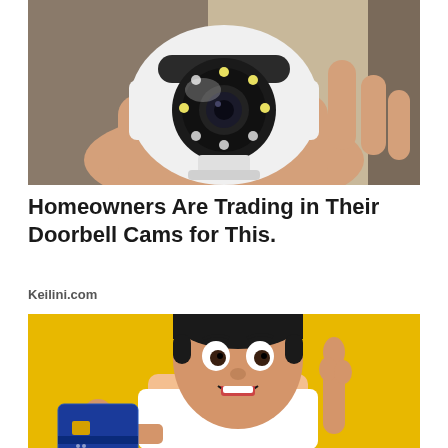[Figure (photo): A hand holding a small white dome security camera with LED lights and a camera lens visible, photographed close-up against a blurred background.]
Homeowners Are Trading in Their Doorbell Cams for This.
Keilini.com
[Figure (photo): A young man with an excited, surprised expression holding up a blue credit card in one hand and pointing upward with the other finger, against a yellow background, wearing a white t-shirt.]